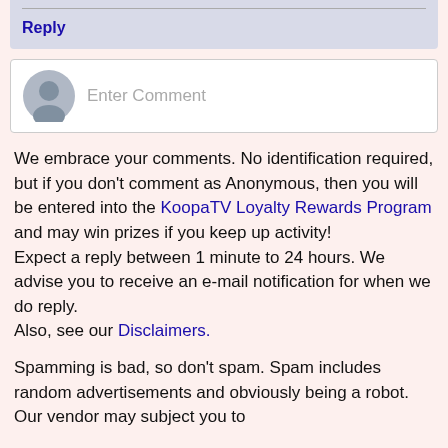Well... there definitely wasn't much of an emphasis on... science.
Reply
[Figure (other): Comment input area with avatar placeholder and 'Enter Comment' text field]
We embrace your comments. No identification required, but if you don't comment as Anonymous, then you will be entered into the KoopaTV Loyalty Rewards Program and may win prizes if you keep up activity!
Expect a reply between 1 minute to 24 hours. We advise you to receive an e-mail notification for when we do reply.
Also, see our Disclaimers.
Spamming is bad, so don't spam. Spam includes random advertisements and obviously being a robot. Our vendor may subject you to